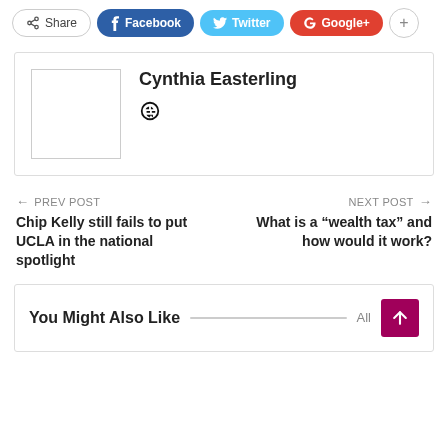[Figure (screenshot): Social share buttons row: Share, Facebook, Twitter, Google+, plus button]
[Figure (screenshot): Author card showing Cynthia Easterling with a blank avatar placeholder and a globe icon]
← PREV POST
Chip Kelly still fails to put UCLA in the national spotlight
NEXT POST →
What is a “wealth tax” and how would it work?
You Might Also Like